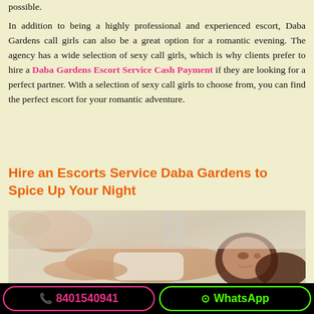possible.
In addition to being a highly professional and experienced escort, Daba Gardens call girls can also be a great option for a romantic evening. The agency has a wide selection of sexy call girls, which is why clients prefer to hire a Daba Gardens Escort Service Cash Payment if they are looking for a perfect partner. With a selection of sexy call girls to choose from, you can find the perfect escort for your romantic adventure.
Hire an Escorts Service Daba Gardens to Spice Up Your Night
[Figure (photo): A woman lying on a bed in lingerie, smiling at the camera]
📞 8401540941   WhatsApp